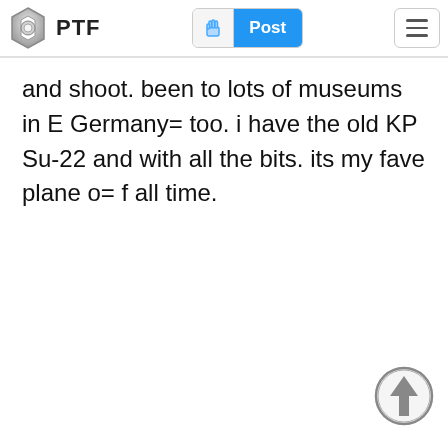PTF
and shoot. been to lots of museums in E Germany= too. i have the old KP Su-22 and with all the bits. its my fave plane o= f all time.